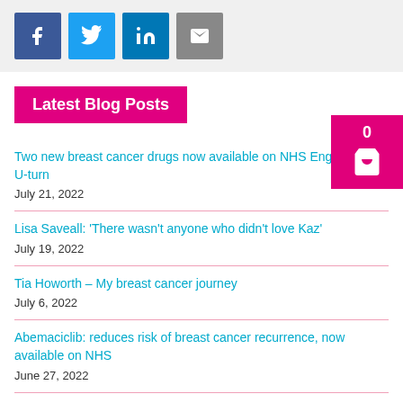[Figure (infographic): Social media share icons: Facebook (blue), Twitter (light blue), LinkedIn (dark blue), Email (grey)]
Latest Blog Posts
Two new breast cancer drugs now available on NHS England after U-turn
July 21, 2022
Lisa Saveall: ‘There wasn’t anyone who didn’t love Kaz’
July 19, 2022
Tia Howorth – My breast cancer journey
July 6, 2022
Abemaciclib: reduces risk of breast cancer recurrence, now available on NHS
June 27, 2022
Siobhan Harrison: I thought it was just a pimple